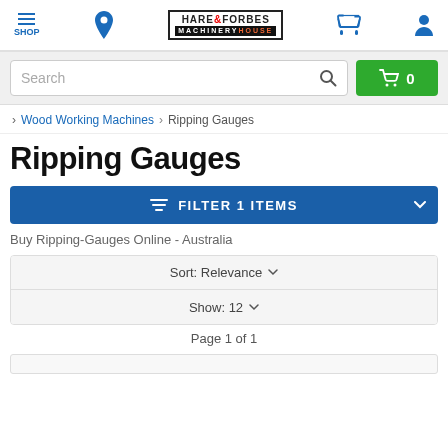SHOP | Hare & Forbes Machinery House
Search
0
> Wood Working Machines > Ripping Gauges
Ripping Gauges
FILTER 1 ITEMS
Buy Ripping-Gauges Online - Australia
Sort: Relevance
Show: 12
Page 1 of 1